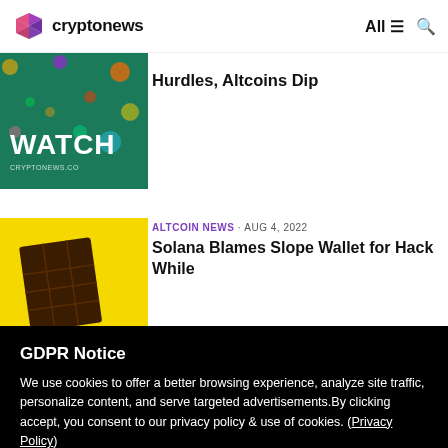cryptonews — All
[Figure (screenshot): Partially visible article thumbnail with WATCH text on green background with colorful circle decorations]
Hurdles, Altcoins Dip
[Figure (photo): Yellow background with dark chocolate bar partially visible]
ALTCOIN NEWS · AUG 4, 2022
Solana Blames Slope Wallet for Hack While
GDPR Notice
We use cookies to offer a better browsing experience, analyze site traffic, personalize content, and serve targeted advertisements.By clicking accept, you consent to our privacy policy & use of cookies. (Privacy Policy)
Preferences
Confirm all